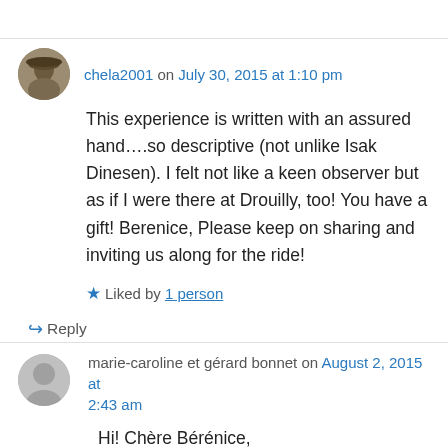chela2001 on July 30, 2015 at 1:10 pm
This experience is written with an assured hand….so descriptive (not unlike Isak Dinesen). I felt not like a keen observer but as if I were there at Drouilly, too! You have a gift! Berenice, Please keep on sharing and inviting us along for the ride!
Liked by 1 person
↳ Reply
marie-caroline et gérard bonnet on August 2, 2015 at 2:43 am
Hi! Chère Bérénice,